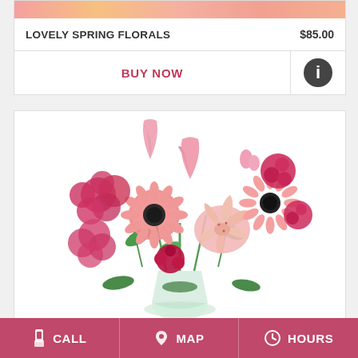[Figure (photo): Floral arrangement image strip at top of first product card]
LOVELY SPRING FLORALS   $85.00
BUY NOW
[Figure (photo): Colorful spring flower bouquet with pink gerbera daisies, roses, lilies, and hydrangeas in a glass vase]
CALL   MAP   HOURS